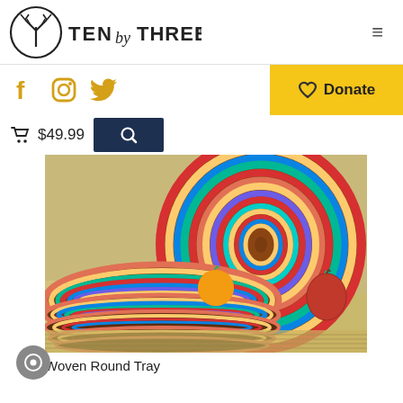[Figure (logo): Ten by Three logo: circular tree icon with TEN by THREE wordmark]
[Figure (infographic): Social media icons: Facebook, Instagram, Twitter in golden yellow]
[Figure (other): Yellow Donate button with heart icon]
🛒 $49.99
[Figure (photo): Colorful woven round trays/baskets with rainbow striped coils, one holding an orange, displayed with a red apple, on woven surface]
Woven Round Tray